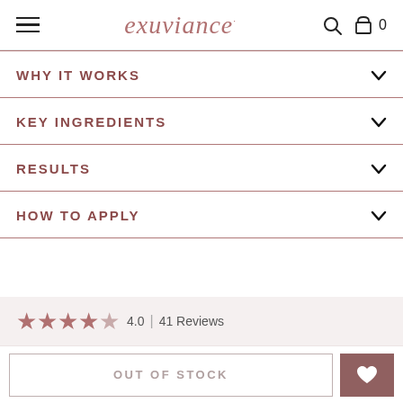exuviance
WHY IT WORKS
KEY INGREDIENTS
RESULTS
HOW TO APPLY
4.0 | 41 Reviews
OUT OF STOCK